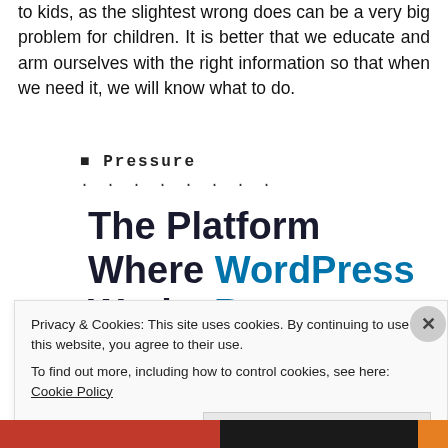to kids, as the slightest wrong does can be a very big problem for children. It is better that we educate and arm ourselves with the right information so that when we need it, we will know what to do.
Pressure ........
The Platform Where WordPress Works Best
Privacy & Cookies: This site uses cookies. By continuing to use this website, you agree to their use.
To find out more, including how to control cookies, see here: Cookie Policy
Close and accept